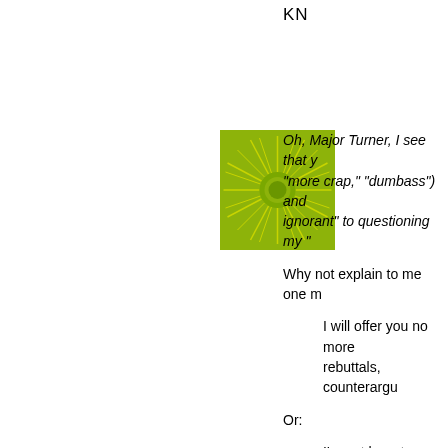KN
[Figure (illustration): Green sunburst/dandelion avatar icon — circular green center with radiating spiky lines on a square green background]
Oh, Major Turner, I see that y "more crap," "dumbass") and ignorant" to questioning my "
Why not explain to me one m
I will offer you no more rebuttals, counterargu
Or:
I'm not here to suppor
Because from where I sit, tho I'm questioning your integrity. Further, I don't feel any real n who lie to me.
Still, I don't understand your d
Shall we add that to "angry," interested," "irrational" and "m resort to ad hominem? Can't